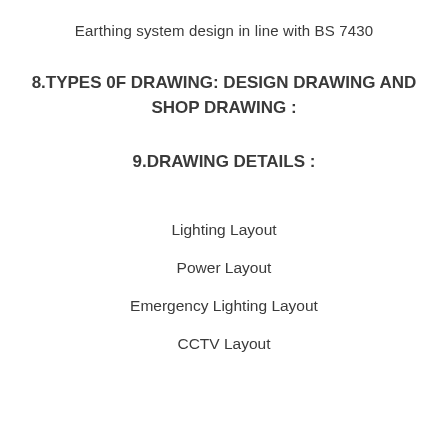Earthing system design in line with BS 7430
8.TYPES 0F DRAWING: DESIGN DRAWING AND SHOP DRAWING :
9.DRAWING DETAILS :
Lighting Layout
Power Layout
Emergency Lighting Layout
CCTV Layout